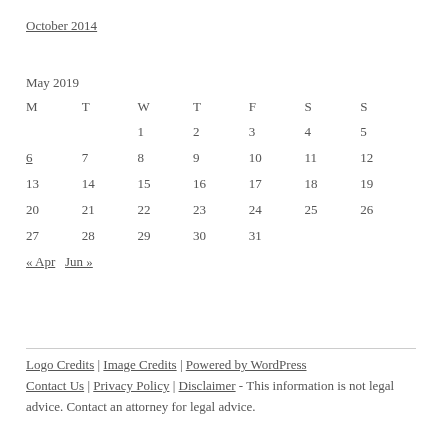October 2014
| M | T | W | T | F | S | S |
| --- | --- | --- | --- | --- | --- | --- |
|  |  | 1 | 2 | 3 | 4 | 5 |
| 6 | 7 | 8 | 9 | 10 | 11 | 12 |
| 13 | 14 | 15 | 16 | 17 | 18 | 19 |
| 20 | 21 | 22 | 23 | 24 | 25 | 26 |
| 27 | 28 | 29 | 30 | 31 |  |  |
| « Apr | Jun » |  |  |  |  |  |
Logo Credits | Image Credits | Powered by WordPress
Contact Us | Privacy Policy | Disclaimer - This information is not legal advice. Contact an attorney for legal advice.